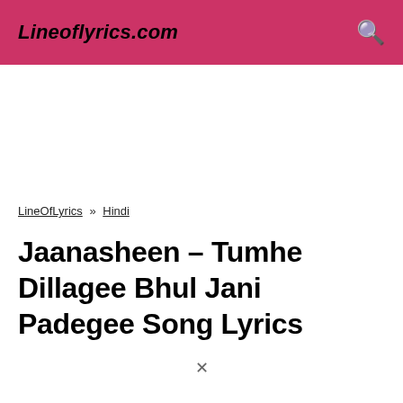Lineoflyrics.com
LineOfLyrics » Hindi
Jaanasheen – Tumhe Dillagee Bhul Jani Padegee Song Lyrics